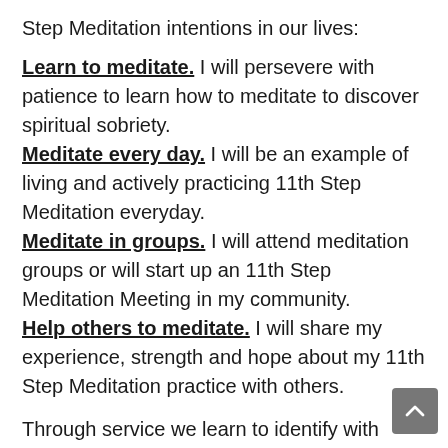Step Meditation intentions in our lives:
Learn to meditate. I will persevere with patience to learn how to meditate to discover spiritual sobriety. Meditate every day. I will be an example of living and actively practicing 11th Step Meditation everyday. Meditate in groups. I will attend meditation groups or will start up an 11th Step Meditation Meeting in my community. Help others to meditate. I will share my experience, strength and hope about my 11th Step Meditation practice with others.
Through service we learn to identify with those who we serve, and so a shift occurs in our center of focus. It shifts from the personal, the selfish, to the impersonal, the unselfish. And, in doing this, we identify more and more, with more and more. Our awareness expands. The path is through service. That is why it was instituted and demonstrated over and over by many